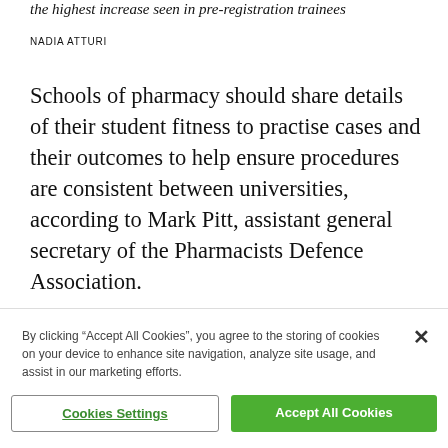the highest increase seen in pre-registration trainees
NADIA ATTURI
Schools of pharmacy should share details of their student fitness to practise cases and their outcomes to help ensure procedures are consistent between universities, according to Mark Pitt, assistant general secretary of the Pharmacists Defence Association.
Speaking at the Royal Pharmaceutical Society
By clicking “Accept All Cookies”, you agree to the storing of cookies on your device to enhance site navigation, analyze site usage, and assist in our marketing efforts.
Cookies Settings
Accept All Cookies